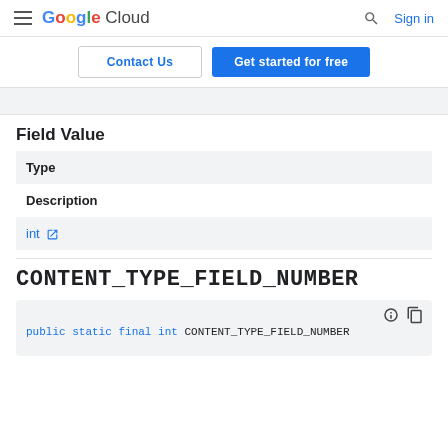Google Cloud — Sign in
Contact Us | Get started for free
Field Value
| Type | Description |
| --- | --- |
| int ↗ |  |
CONTENT_TYPE_FIELD_NUMBER
public static final int CONTENT_TYPE_FIELD_NUMBER